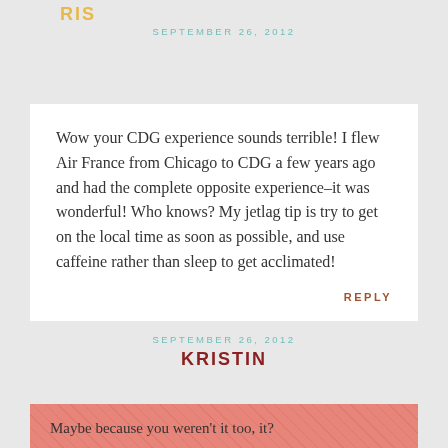SEPTEMBER 26, 2012
RIS
Wow your CDG experience sounds terrible! I flew Air France from Chicago to CDG a few years ago and had the complete opposite experience–it was wonderful! Who knows? My jetlag tip is try to get on the local time as soon as possible, and use caffeine rather than sleep to get acclimated!
REPLY
SEPTEMBER 26, 2012
KRISTIN
Maybe because you weren't it too, it?